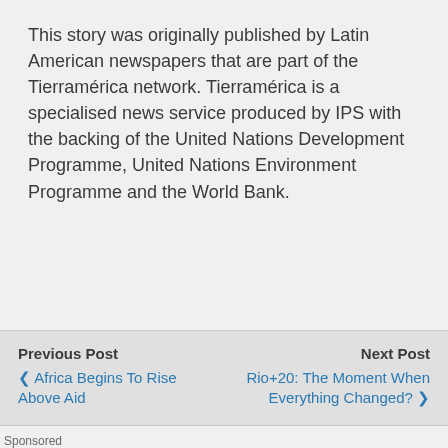This story was originally published by Latin American newspapers that are part of the Tierramérica network. Tierramérica is a specialised news service produced by IPS with the backing of the United Nations Development Programme, United Nations Environment Programme and the World Bank.
Previous Post  ❮ Africa Begins To Rise Above Aid   Next Post  Rio+20: The Moment When Everything Changed? ❯
Sponsored
[Figure (photo): Partial view of a sponsored image showing sandy/rocky terrain with a dark object visible]